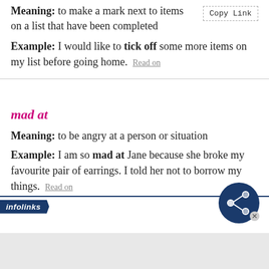Meaning: to make a mark next to items on a list that have been completed
Example: I would like to tick off some more items on my list before going home. Read on
mad at
Meaning: to be angry at a person or situation
Example: I am so mad at Jane because she broke my favourite pair of earrings. I told her not to borrow my things. Read on
[Figure (logo): infolinks advertisement bar with logo]
[Figure (illustration): Share icon circle with network dots on dark blue background with close button]